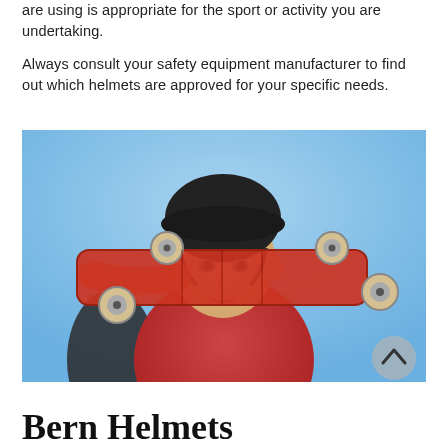are using is appropriate for the sport or activity you are undertaking.

Always consult your safety equipment manufacturer to find out which helmets are approved for your specific needs.
[Figure (photo): A young boy wearing a black helmet holds a red skateboard across his shoulders against a blue sky background.]
Bern Helmets